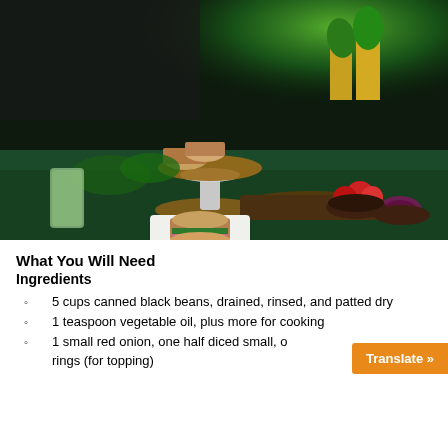[Figure (photo): Food photography showing veggie burgers/black bean burgers on a green tablecloth-covered table. Multiple burgers on wooden serving boards and white plates, with pineapples in background, tomatoes, red onion rings, herbs and a glass of iced drink. Dramatic green-lit studio kitchen background.]
What You Will Need
Ingredients
5 cups canned black beans, drained, rinsed, and patted dry
1 teaspoon vegetable oil, plus more for cooking
1 small red onion, one half diced small, one half cut into rings (for topping)